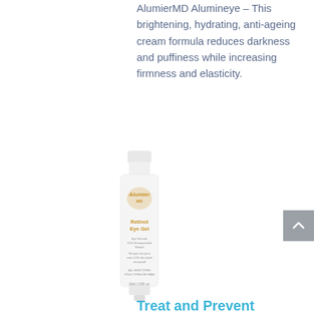AlumierMD Alumineye – This brightening, hydrating, anti-ageing cream formula reduces darkness and puffiness while increasing firmness and elasticity.
[Figure (photo): AlumierMD Retinol Eye Gel product tube, white with gold and blue text labeling, standing upright]
Treat and Prevent